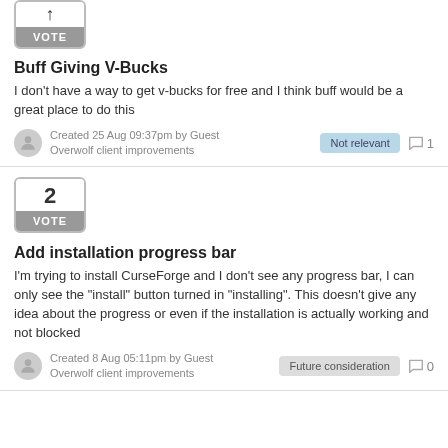[Figure (other): Vote box with partial number and VOTE button for first post]
Buff Giving V-Bucks
I don't have a way to get v-bucks for free and I think buff would be a great place to do this
Created 25 Aug 09:37pm by Guest
Overwolf client improvements
[Figure (other): Vote box showing 2 with VOTE button for second post]
Add installation progress bar
I'm trying to install CurseForge and I don't see any progress bar, I can only see the "install" button turned in "installing". This doesn't give any idea about the progress or even if the installation is actually working and not blocked
Created 8 Aug 05:11pm by Guest
Overwolf client improvements